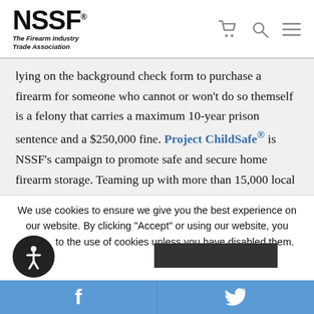NSSF® The Firearm Industry Trade Association
lying on the background check form to purchase a firearm for someone who cannot or won't do so themself is a felony that carries a maximum 10-year prison sentence and a $250,000 fine. Project ChildSafe® is NSSF's campaign to promote safe and secure home firearm storage. Teaming up with more than 15,000 local law enforcement agencies in all 50 states and U.S. territories, NSSF has provided more than
We use cookies to ensure we give you the best experience on our website. By clicking "Accept" or using our website, you consent to the use of cookies unless you have disabled them.